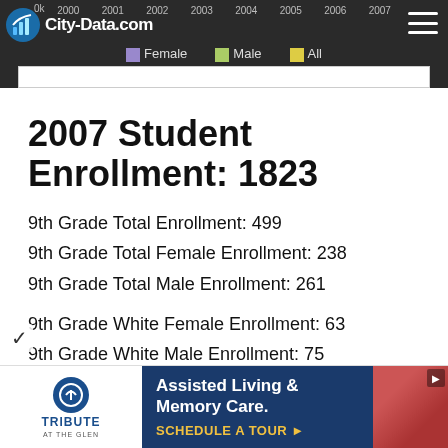[Figure (other): Top navigation bar with City-Data.com logo, year axis labels (0k, 2000, 2001, 2002, 2003, 2004, 2005, 2006, 2007), and chart legend showing Female, Male, All series]
2007 Student Enrollment: 1823
9th Grade Total Enrollment: 499
9th Grade Total Female Enrollment: 238
9th Grade Total Male Enrollment: 261
9th Grade White Female Enrollment: 63
9th Grade White Male Enrollment: 75
9th Grade Black Female Enrollment: 93
9th Grade Black Male Enrollment: 88
9th Grade Hispanic Female Enrollment: 59
9th Grade Hispanic Male Enrollment: 68
[Figure (other): Advertisement banner for Tribute at The Glen - Assisted Living & Memory Care with Schedule a Tour call to action]